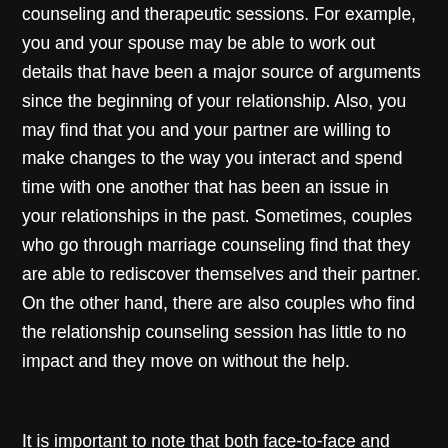counseling and therapeutic sessions. For example, you and your spouse may be able to work out details that have been a major source of arguments since the beginning of your relationship. Also, you may find that you and your partner are willing to make changes to the way you interact and spend time with one another that has been an issue in your relationships in the past. Sometimes, couples who go through marriage counseling find that they are able to rediscover themselves and their partner. On the other hand, there are also couples who find the relationship counseling session has little to no impact and they move on without the help.
It is important to note that both face-to-face and telephone sessions of marriage counseling can be beneficial to the couple. You can work out details that have been a key source of arguments since the beginning of your relationship. You can also find out to make interactions and spend more qualifying...